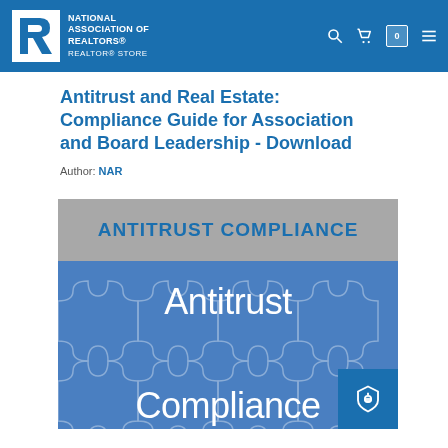NATIONAL ASSOCIATION OF REALTORS® REALTOR® STORE
Antitrust and Real Estate: Compliance Guide for Association and Board Leadership - Download
Author: NAR
[Figure (illustration): Book cover for Antitrust Compliance guide. Top gray band with 'ANTITRUST COMPLIANCE' in blue bold text. Bottom blue section with puzzle piece background showing 'Antitrust Compliance' in white text. Blue price/tag badge in bottom right corner.]